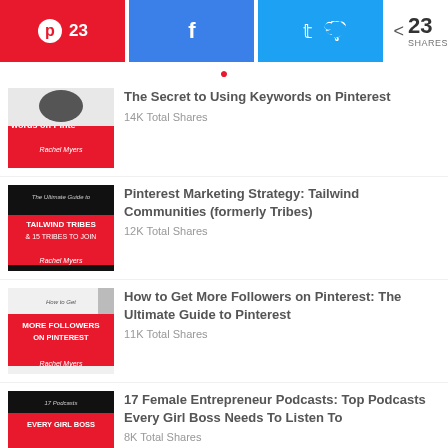[Figure (screenshot): Social share bar with Pinterest (red, 23), Facebook (blue), Twitter (blue) buttons and share count of 23 SHARES]
[Figure (photo): Thumbnail for 'The Secret to Using Keywords on Pinterest' - red and white text on pink background]
The Secret to Using Keywords on Pinterest
14K Total Shares
[Figure (photo): Thumbnail for 'Pinterest Marketing Strategy: Tailwind Communities (formerly Tribes)' - dark background with red accent]
Pinterest Marketing Strategy: Tailwind Communities (formerly Tribes)
12K Total Shares
[Figure (photo): Thumbnail for 'How to Get More Followers on Pinterest: The Ultimate Guide to Pinterest' - red and white text]
How to Get More Followers on Pinterest: The Ultimate Guide to Pinterest
11K Total Shares
[Figure (photo): Thumbnail for '17 Female Entrepreneur Podcasts: Top Podcasts Every Girl Boss Needs To Listen To']
17 Female Entrepreneur Podcasts: Top Podcasts Every Girl Boss Needs To Listen To
8K Total Shares